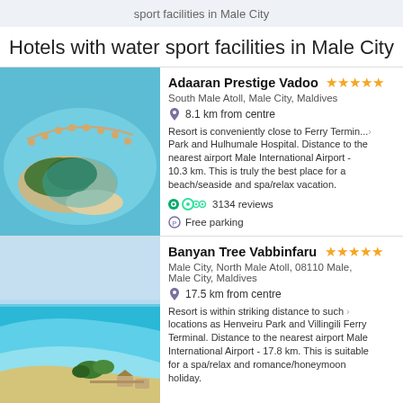sport facilities in Male City
Hotels with water sport facilities in Male City
[Figure (photo): Aerial view of Adaaran Prestige Vadoo island resort in the Maldives, showing overwater bungalows and turquoise water]
Adaaran Prestige Vadoo ★★★★★
South Male Atoll, Male City, Maldives
8.1 km from centre
Resort is conveniently close to Ferry Termin... Park and Hulhumale Hospital. Distance to the nearest airport Male International Airport - 10.3 km. This is truly the best place for a beach/seaside and spa/relax vacation.
3134 reviews
Free parking
[Figure (photo): Aerial/beach view of Banyan Tree Vabbinfaru resort in the Maldives, showing turquoise water, beach, and overwater villas]
Banyan Tree Vabbinfaru ★★★★★
Male City, North Male Atoll, 08110 Male, Male City, Maldives
17.5 km from centre
Resort is within striking distance to such locations as Henveiru Park and Villingili Ferry Terminal. Distance to the nearest airport Male International Airport - 17.8 km. This is suitable for a spa/relax and romance/honeymoon holiday.